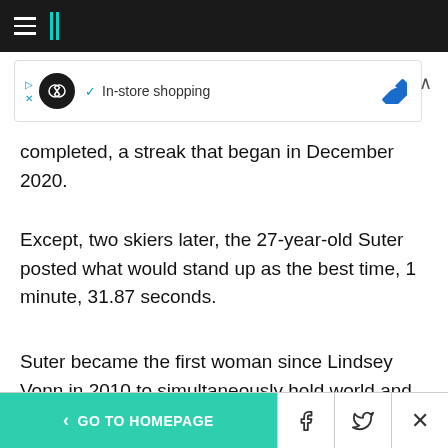HuffPost navigation header
[Figure (screenshot): Advertisement banner showing an infinity loop icon with 'In-store shopping' text and a blue diamond direction icon]
completed, a streak that began in December 2020.
Except, two skiers later, the 27-year-old Suter posted what would stand up as the best time, 1 minute, 31.87 seconds.
Suter became the first woman since Lindsey Vonn in 2010 to simultaneously hold world and Olympic downhill titles, made Switzerland the
< GO TO HOMEPAGE  [Facebook] [Twitter] [X]